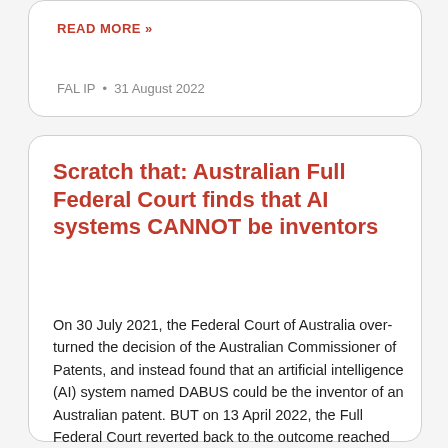READ MORE »
FAL IP  •  31 August 2022
Scratch that: Australian Full Federal Court finds that AI systems CANNOT be inventors
On 30 July 2021, the Federal Court of Australia over-turned the decision of the Australian Commissioner of Patents, and instead found that an artificial intelligence (AI) system named DABUS could be the inventor of an Australian patent. BUT on 13 April 2022, the Full Federal Court reverted back to the outcome reached by the Commissioner of Patents, holding